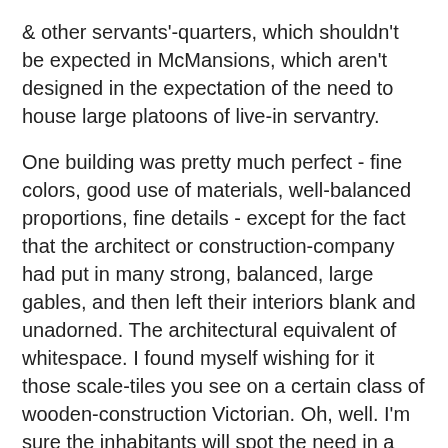& other servants'-quarters, which shouldn't be expected in McMansions, which aren't designed in the expectation of the need to house large platoons of live-in servantry.
One building was pretty much perfect - fine colors, good use of materials, well-balanced proportions, fine details - except for the fact that the architect or construction-company had put in many strong, balanced, large gables, and then left their interiors blank and unadorned. The architectural equivalent of whitespace. I found myself wishing for it those scale-tiles you see on a certain class of wooden-construction Victorian. Oh, well. I'm sure the inhabitants will spot the need in a year or two - the one thing you can rely on is the occupants' need for decoration & adornment. An excess of asceticism is a rare fault indeed.
Not so rare, however, are the obscenities inflicted upon an innocent world by the architects of the Long Sixties. On the road I followed into the new neighborhood was a massive construct which could have been confused for some institutional monstrosity like a bureaucrats' hive or an office hovel for pyschiatrists were it not for its location in the heart